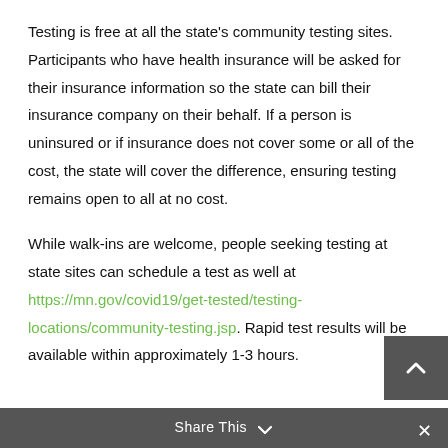Testing is free at all the state's community testing sites. Participants who have health insurance will be asked for their insurance information so the state can bill their insurance company on their behalf. If a person is uninsured or if insurance does not cover some or all of the cost, the state will cover the difference, ensuring testing remains open to all at no cost.
While walk-ins are welcome, people seeking testing at state sites can schedule a test as well at https://mn.gov/covid19/get-tested/testing-locations/community-testing.jsp. Rapid test results will be available within approximately 1-3 hours.
Share This